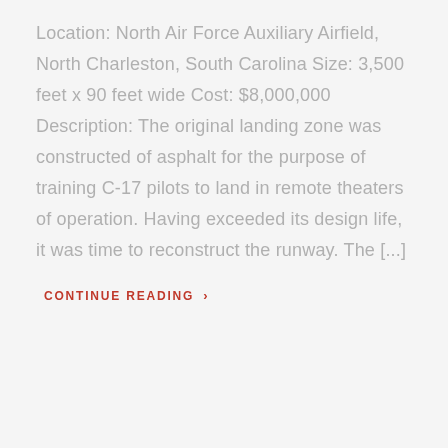Location: North Air Force Auxiliary Airfield, North Charleston, South Carolina Size: 3,500 feet x 90 feet wide Cost: $8,000,000 Description: The original landing zone was constructed of asphalt for the purpose of training C-17 pilots to land in remote theaters of operation. Having exceeded its design life, it was time to reconstruct the runway. The [...]
CONTINUE READING >